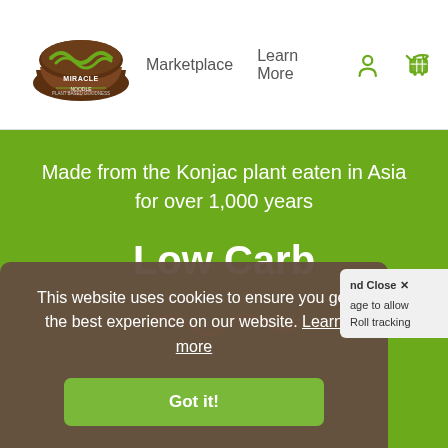Miracle Noodle | Marketplace | Learn More
Made from the Konjac plant eaten in Asia for over 1,000 years
Low Carb
This website uses cookies to ensure you get the best experience on our website. Learn more
Got it!